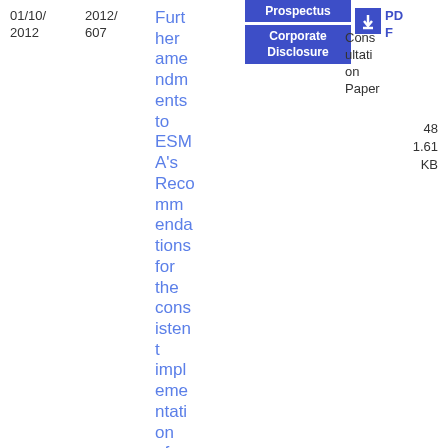01/10/2012
2012/607
Further amendments to ESMA's Recommendations for the consistent implementation of
Prospectus
Corporate Disclosure
Consultation Paper
PDF
48 1.61 KB